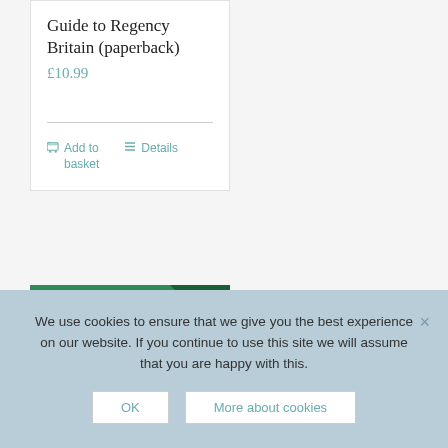Guide to Regency Britain (paperback)
£10.99
Add to basket
Details
[Figure (photo): Green book cover with dark triangle corner and text 'A POCKET']
We use cookies to ensure that we give you the best experience on our website. If you continue to use this site we will assume that you are happy with this.
OK
More about cookies